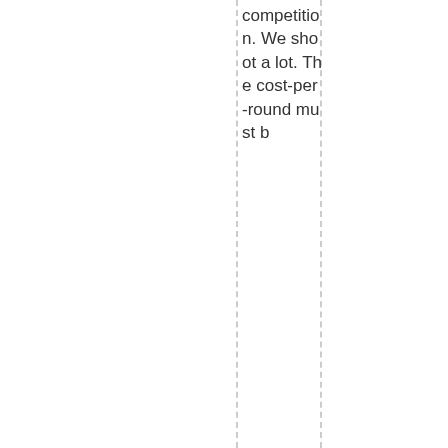competition. We shoot a lot. The cost-per-round must b